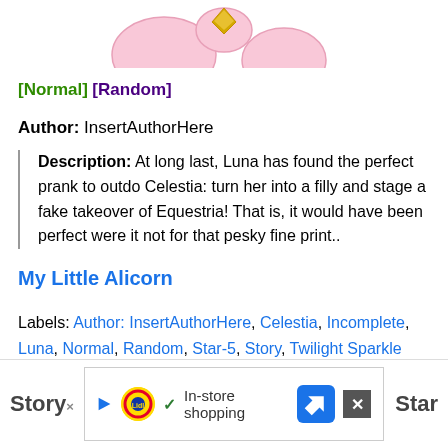[Figure (illustration): Partial view of a My Little Pony style cartoon pony illustration with pink/light-colored body, partially visible at top of page]
[Normal] [Random]
Author: InsertAuthorHere
Description: At long last, Luna has found the perfect prank to outdo Celestia: turn her into a filly and stage a fake takeover of Equestria! That is, it would have been perfect were it not for that pesky fine print..
My Little Alicorn
Labels: Author: InsertAuthorHere, Celestia, Incomplete, Luna, Normal, Random, Star-5, Story, Twilight Sparkle
[Figure (screenshot): Bottom navigation/ad bar showing Story label on left, Lidl in-store shopping advertisement in center, Star label on right, with close button]